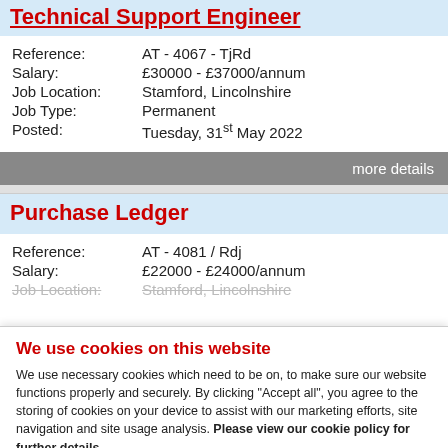Technical Support Engineer
| Reference: | AT - 4067 - TjRd |
| Salary: | £30000 - £37000/annum |
| Job Location: | Stamford, Lincolnshire |
| Job Type: | Permanent |
| Posted: | Tuesday, 31st May 2022 |
more details
Purchase Ledger
| Reference: | AT - 4081 / Rdj |
| Salary: | £22000 - £24000/annum |
| Job Location: | Stamford, Lincolnshire |
We use cookies on this website
We use necessary cookies which need to be on, to make sure our website functions properly and securely. By clicking "Accept all", you agree to the storing of cookies on your device to assist with our marketing efforts, site navigation and site usage analysis. Please view our cookie policy for further details
I Accept
Manage cookies